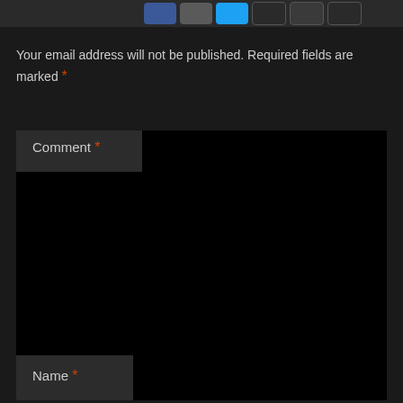[Figure (screenshot): Social sharing buttons bar at top: Facebook (blue), mail (gray), Twitter (light blue), and other social buttons]
Your email address will not be published. Required fields are marked *
Comment *
Name *